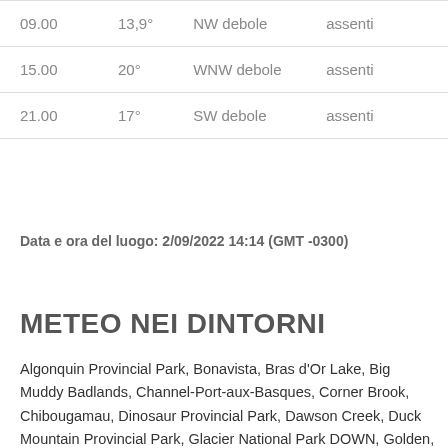|  |  |  |  |
| --- | --- | --- | --- |
| 09.00 | 13,9° | NW debole | assenti |
| 15.00 | 20° | WNW debole | assenti |
| 21.00 | 17° | SW debole | assenti |
Data e ora del luogo: 2/09/2022 14:14 (GMT -0300)
METEO NEI DINTORNI
Algonquin Provincial Park, Bonavista, Bras d'Or Lake, Big Muddy Badlands, Channel-Port-aux-Basques, Corner Brook, Chibougamau, Dinosaur Provincial Park, Dawson Creek, Duck Mountain Provincial Park, Glacier National Park DOWN, Golden, Grand Falls, Gros Morne National Park, High Level, Halifax, Kelowna, Kitimat, Labrador City, London, Lac La Ronge Provincial Park, Mount Robson Provincial Park DOWN, Magoy, Meadow Lake Provincial Park, Moose Mountain Provincial Park, Nain, Orillia, Port Royal National Historic Park, Peawanuck, Riding Mountain National Park, Regina, Ross River, Skidegate, Saint John, Schefferville, Sudbury,